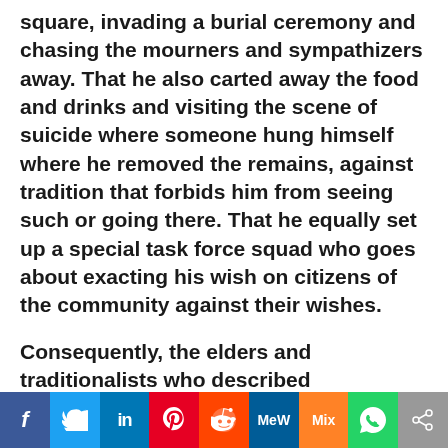square, invading a burial ceremony and chasing the mourners and sympathizers away. That he also carted away the food and drinks and visiting the scene of suicide where someone hung himself where he removed the remains, against tradition that forbids him from seeing such or going there. That he equally set up a special task force squad who goes about exacting his wish on citizens of the community against their wishes.
Consequently, the elders and traditionalists who described themselves as custodians of Ojoto customs and tradition insist that Igwe Mbamalu shall
[Figure (other): Social media share bar with buttons for Facebook, Twitter, LinkedIn, Pinterest, Reddit, MeWe, Mix, WhatsApp, and More]